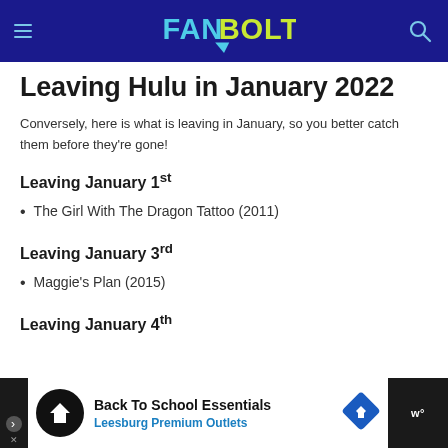FanBolt
Leaving Hulu in January 2022
Conversely, here is what is leaving in January, so you better catch them before they're gone!
Leaving January 1st
The Girl With The Dragon Tattoo (2011)
Leaving January 3rd
Maggie's Plan (2015)
Leaving January 4th
[Figure (other): Advertisement banner: Back To School Essentials - Leesburg Premium Outlets]